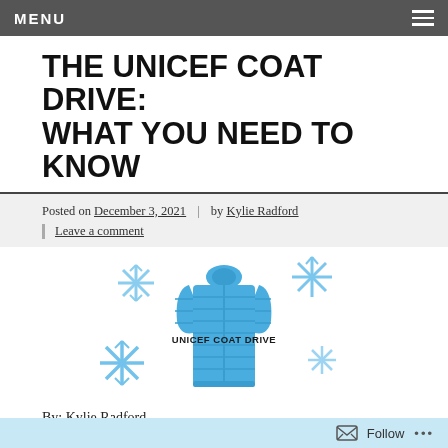MENU
THE UNICEF COAT DRIVE: WHAT YOU NEED TO KNOW
Posted on December 3, 2021 | by Kylie Radford | Leave a comment
[Figure (illustration): Blue puffer jacket with snowflakes around it and text overlay reading UNICEF COAT DRIVE]
By: Kylie Radford
Follow